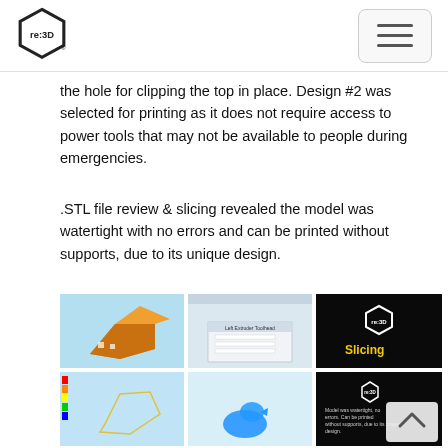re:3D logo and navigation menu
the hole for clipping the top in place. Design #2 was selected for printing as it does not require access to power tools that may not be available to people during emergencies.
.STL file review & slicing revealed the model was watertight with no errors and can be printed without supports, due to its unique design.
[Figure (photo): Grid of six images showing 3D model views and slicing software screenshots. Top row: orange 3D printed model on light blue background; slicing software UI screenshot; black slide with re:3D logo and 'Slicing' text. Bottom row: sliced model view with color gradient; blue 3D model on light background; black slide with text about model being watertight.]